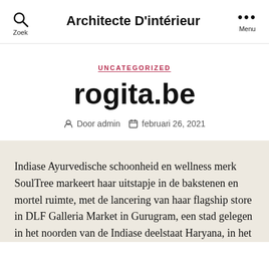Architecte D'intérieur
UNCATEGORIZED
rogita.be
Door admin   februari 26, 2021
Indiase Ayurvedische schoonheid en wellness merk SoulTree markeert haar uitstapje in de bakstenen en mortel ruimte, met de lancering van haar flagship store in DLF Galleria Market in Gurugram, een stad gelegen in het noorden van de Indiase deelstaat Haryana, in het